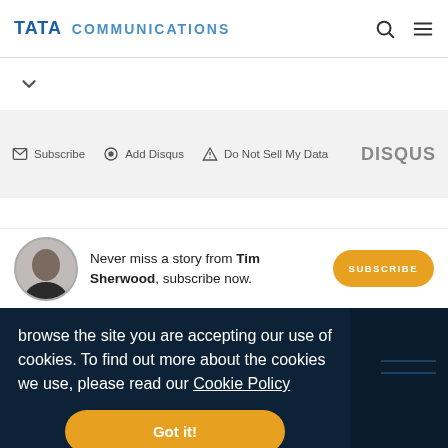TATA COMMUNICATIONS
▾
✉ Subscribe  ⊙ Add Disqus  ⚠ Do Not Sell My Data  DISQUS
Never miss a story from Tim Sherwood, subscribe now.
SUBSCRIBE
browse the site you are accepting our use of cookies. To find out more about the cookies we use, please read our Cookie Policy
Got it!